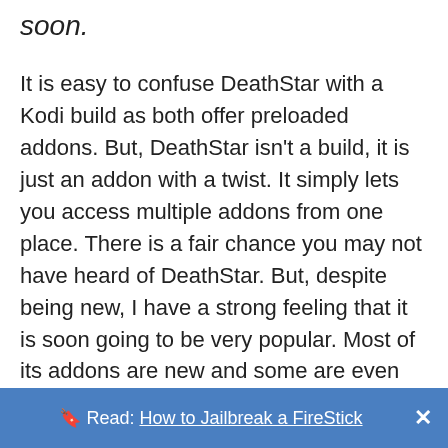soon.
It is easy to confuse DeathStar with a Kodi build as both offer preloaded addons. But, DeathStar isn't a build, it is just an addon with a twist. It simply lets you access multiple addons from one place. There is a fair chance you may not have heard of DeathStar. But, despite being new, I have a strong feeling that it is soon going to be very popular. Most of its addons are new and some are even exclusive to it.
DeathStar Kodi addon has been created by a collaboration of 11 developers. With the top Kodi
🔖 Read: How to Jailbreak a FireStick  ✕